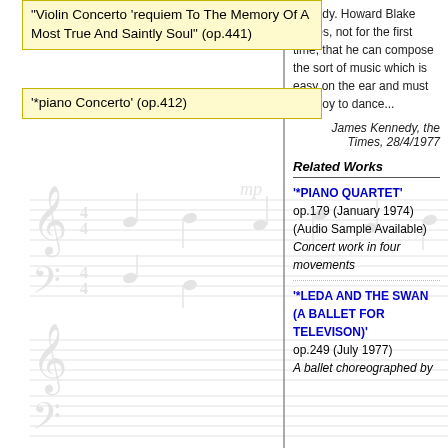"Violin Concerto 'requiem To The Memory Of A Most True And Saintly Soul" (op.441)
'*piano Concerto' (op.412)
[Figure (illustration): Music sheet notation background with treble and bass clef staves, notes, mp dynamic markings]
comedy. Howard Blake proves, not for the first time, that he can compose the sort of music which is easy on the ear and must be a joy to dance...
James Kennedy, the Times, 28/4/1977
Related Works
'*PIANO QUARTET' op.179 (January 1974) (Audio Sample Available)
Concert work in four movements
'*LEDA AND THE SWAN (A BALLET FOR TELEVISON)' op.249 (July 1977)
A ballet choreographed by